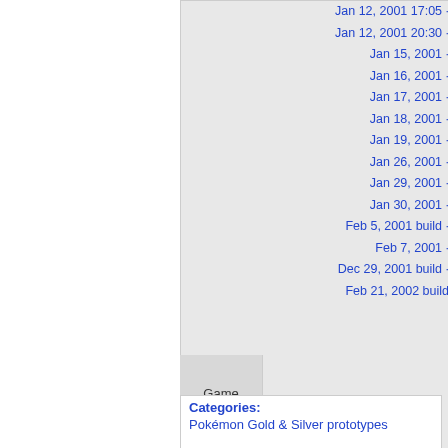|  | Dates |  |
| --- | --- | --- |
|  | Jan 12, 2001 17:05 · |  |
|  | Jan 12, 2001 20:30 · |  |
|  | Jan 15, 2001 · |  |
|  | Jan 16, 2001 · |  |
|  | Jan 17, 2001 · |  |
|  | Jan 18, 2001 · |  |
|  | Jan 19, 2001 · |  |
|  | Jan 26, 2001 · |  |
|  | Jan 29, 2001 · |  |
|  | Jan 30, 2001 · |  |
|  | Feb 5, 2001 build · |  |
|  | Feb 7, 2001 · |  |
|  | Dec 29, 2001 build · |  |
|  | Feb 21, 2002 build |  |
| Game Boy Color | German |  |
Categories:
Pokémon Gold & Silver prototypes